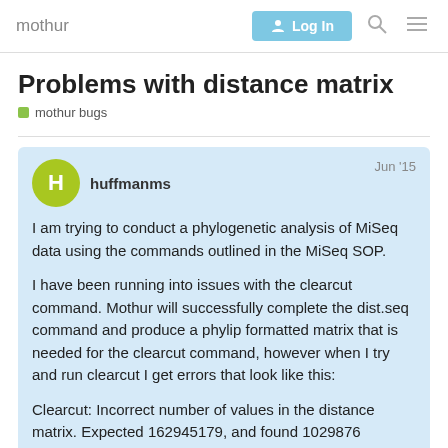mothur | Log In
Problems with distance matrix
mothur bugs
huffmanms Jun '15

I am trying to conduct a phylogenetic analysis of MiSeq data using the commands outlined in the MiSeq SOP.

I have been running into issues with the clearcut command. Mothur will successfully complete the dist.seq command and produce a phylip formatted matrix that is needed for the clearcut command, however when I try and run clearcut I get errors that look like this:

Clearcut: Incorrect number of values in the distance matrix. Expected 162945179, and found 1029876
Clearcut: Syntax error in distance matrix a
1 / 2